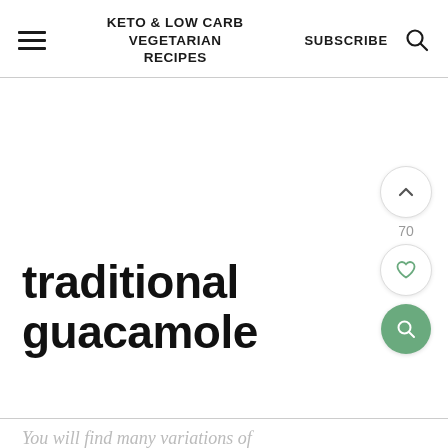KETO & LOW CARB VEGETARIAN RECIPES | SUBSCRIBE
traditional guacamole
You will find many variations of